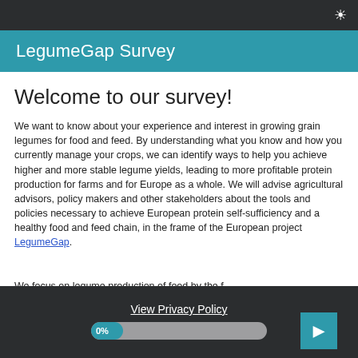LegumeGap Survey
Welcome to our survey!
We want to know about your experience and interest in growing grain legumes for food and feed. By understanding what you know and how you currently manage your crops, we can identify ways to help you achieve higher and more stable legume yields, leading to more profitable protein production for farms and for Europe as a whole. We will advise agricultural advisors, policy makers and other stakeholders about the tools and policies necessary to achieve European protein self-sufficiency and a healthy food and feed chain, in the frame of the European project LegumeGap.
View Privacy Policy
0%